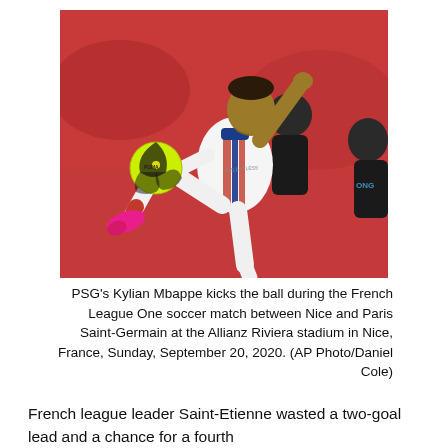[Figure (photo): PSG's Kylian Mbappe kicking a yellow soccer ball, wearing white PSG kit with red and blue stripes, against a red background with another player visible behind him.]
PSG's Kylian Mbappe kicks the ball during the French League One soccer match between Nice and Paris Saint-Germain at the Allianz Riviera stadium in Nice, France, Sunday, September 20, 2020. (AP Photo/Daniel Cole)
French league leader Saint-Etienne wasted a two-goal lead and a chance for a fourth